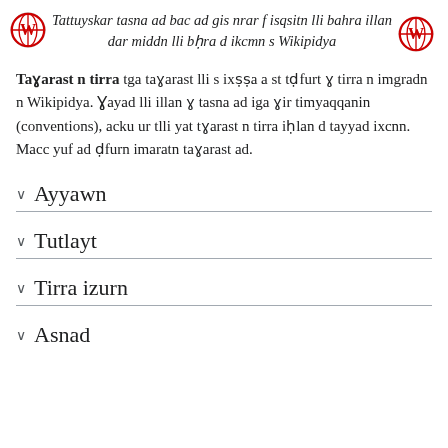Tattuyskar tasna ad bac ad gis nrar f isqsitn lli bahra illan dar middn lli bḥra d ikcmn s Wikipidya
Taɣarast n tirra tga taɣarast lli s ixṣṣa a st tḍfurt ɣ tirra n imgradn n Wikipidya. Ɣayad lli illan ɣ tasna ad iga ɣir timyaqqanin (conventions), acku ur tlli yat tɣarast n tirra iḥlan d tayyad ixcnn. Macc yuf ad ḍfurn imaratn taɣarast ad.
Ayyawn
Tutlayt
Tirra izurn
Asnad